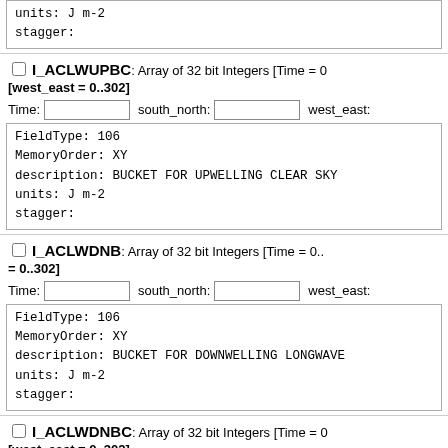units: J m-2
stagger:
I_ACLWUPBC: Array of 32 bit Integers [Time = 0.. [west_east = 0..302]
Time:  south_north:  west_east:
FieldType: 106
MemoryOrder: XY
description: BUCKET FOR UPWELLING CLEAR SKY
units: J m-2
stagger:
I_ACLWDNB: Array of 32 bit Integers [Time = 0.. = 0..302]
Time:  south_north:  west_east:
FieldType: 106
MemoryOrder: XY
description: BUCKET FOR DOWNWELLING LONGWAVE
units: J m-2
stagger:
I_ACLWDNBC: Array of 32 bit Integers [Time = 0.. [west_east = 0..302]
Time:  south_north:  west_east:
FieldType: 106
MemoryOrder: XY
description: BUCKET FOR DOWNWELLING CLEAR SK
units: J m-2
stagger: